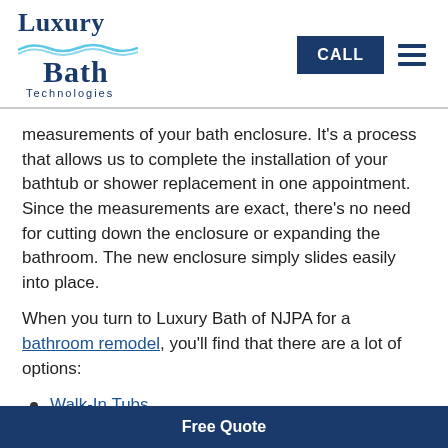[Figure (logo): Luxury Bath Technologies logo with wave graphic in dark navy blue]
measurements of your bath enclosure. It's a process that allows us to complete the installation of your bathtub or shower replacement in one appointment. Since the measurements are exact, there's no need for cutting down the enclosure or expanding the bathroom. The new enclosure simply slides easily into place.
When you turn to Luxury Bath of NJPA for a bathroom remodel, you'll find that there are a lot of options:
Walk-In Tubs
Roll-In Showers
Tub-to-Shower Conversions
Free Quote